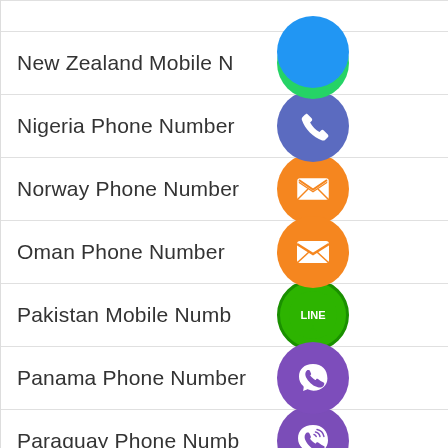New Zealand Mobile N...
Nigeria Phone Number
Norway Phone Number
Oman Phone Number
Pakistan Mobile Numb...
Panama Phone Number
Paraguay Phone Numb...
Philippines Photo Edito...